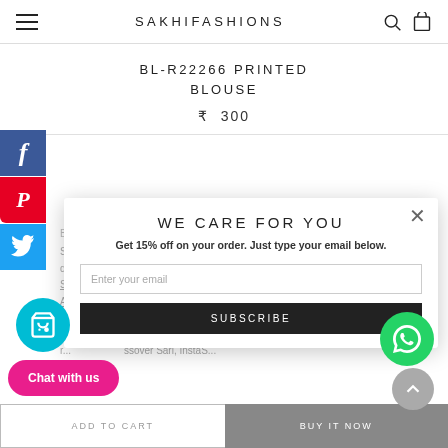SAKHIFASHIONS
BL-R22266 PRINTED BLOUSE
₹ 300
BOUT SAKHI
Stay 6yards ahead ! At Sakhi we offers a stylish range of designer Sarees, Ready blouses, an array of luxurious blouse Salwars , Ready2wear, Real Gold jewelry , Silver Accessories .Shop online we deliver worldwide and our flagship boutique in Bangalore, India. Choose from over 5000 creations. Sample the best of our creations Online r...ssover Sari, InstaS...
[Figure (screenshot): Modal popup with title WE CARE FOR YOU, subtitle Get 15% off on your order. Just type your email below., email input field, and SUBSCRIBE button]
WE CARE FOR YOU
Get 15% off on your order. Just type your email below.
Enter your email
SUBSCRIBE
Chat with us
ADD TO CART
BUY IT NOW